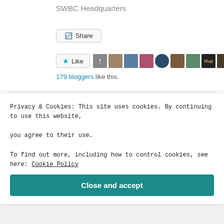SWBC Headquarters
[Figure (screenshot): Share button with icon]
[Figure (screenshot): Like button with star icon and row of blogger avatars]
179 bloggers like this.
Related
[Figure (photo): Real Neat Blog Award thumbnail with blue background and yellow flower]
[Figure (photo): The Sunshine thumbnail with dark bokeh background]
Privacy & Cookies: This site uses cookies. By continuing to use this website, you agree to their use.
To find out more, including how to control cookies, see here: Cookie Policy
Close and accept